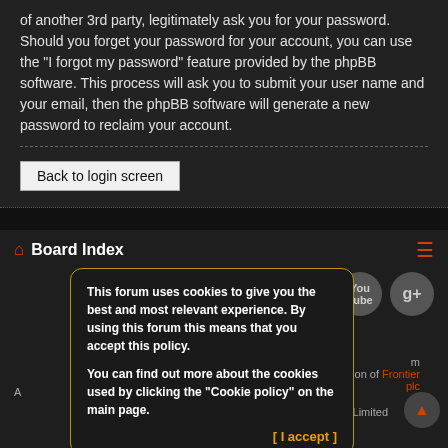of another 3rd party, legitimately ask you for your password. Should you forget your password for your account, you can use the "I forgot my password" feature provided by the phpBB software. This process will ask you to submit your user name and your email, then the phpBB software will generate a new password to reclaim your account.
Back to login screen
Board Index
This forum uses cookies to give you the best and most relevant experience. By using this forum this means that you accept this policy.

You can find out more about the cookies used by clicking the "Cookie policy" on the main page.
[ I accept ]
, with permission of Frontier plc
ware © phpBB Limited